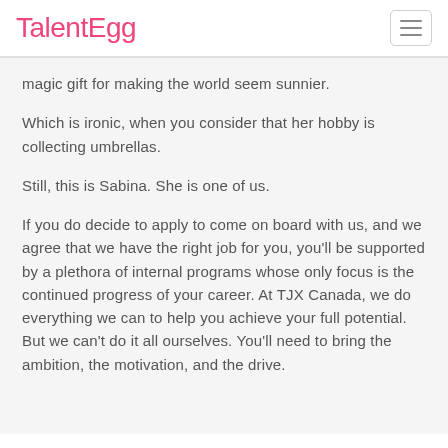TalentEgg
magic gift for making the world seem sunnier.
Which is ironic, when you consider that her hobby is collecting umbrellas.
Still, this is Sabina. She is one of us.
If you do decide to apply to come on board with us, and we agree that we have the right job for you, you'll be supported by a plethora of internal programs whose only focus is the continued progress of your career. At TJX Canada, we do everything we can to help you achieve your full potential. But we can't do it all ourselves. You'll need to bring the ambition, the motivation, and the drive.